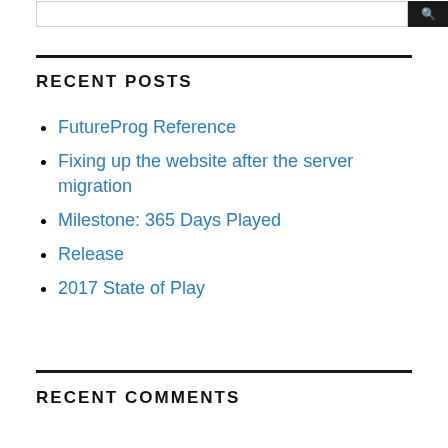RECENT POSTS
FutureProg Reference
Fixing up the website after the server migration
Milestone: 365 Days Played
Release
2017 State of Play
RECENT COMMENTS